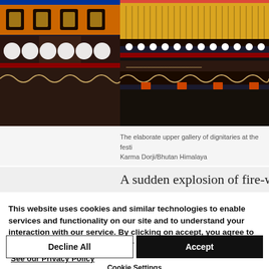[Figure (photo): Colorful ornate Bhutanese temple or dzong architecture — upper gallery with decorative yellow fringed roof, intricate painted woodwork with red, blue, orange and gold patterns, circular white medallions.]
The elaborate upper gallery of dignitaries at the festi Karma Dorji/Bhutan Himalaya
A sudden explosion of fire-works
This website uses cookies and similar technologies to enable services and functionality on our site and to understand your interaction with our service. By clicking on accept, you agree to our use of such technologies for marketing and analytics.
See our Privacy Policy
Decline All
Accept
Cookie Settings